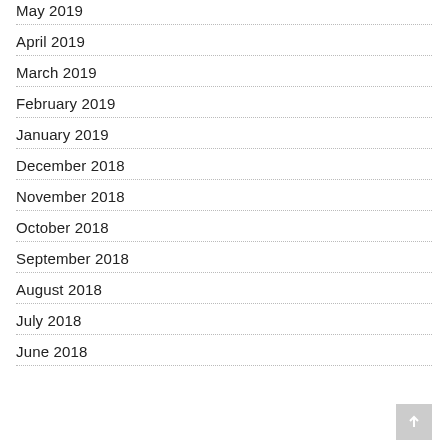May 2019
April 2019
March 2019
February 2019
January 2019
December 2018
November 2018
October 2018
September 2018
August 2018
July 2018
June 2018